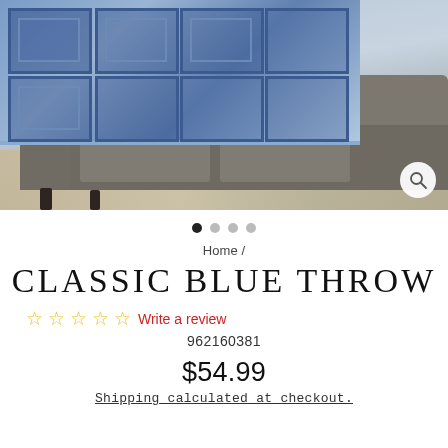[Figure (photo): A blue crocheted granny-square throw blanket draped over a grey sofa in a living room setting, with a patterned rug on the floor. A magnifying glass icon appears in the bottom right corner of the image.]
● ○ ○ ○
Home /
CLASSIC BLUE THROW
☆☆☆☆☆ Write a review
962160381
$54.99
Shipping calculated at checkout.